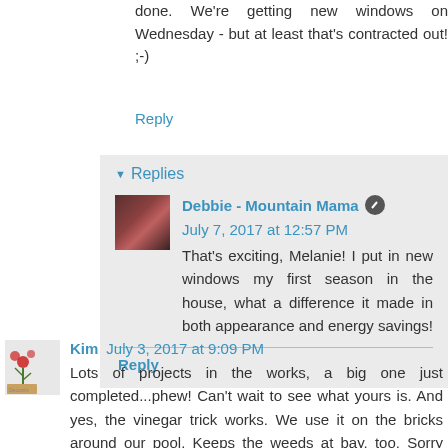done. We're getting new windows on Wednesday - but at least that's contracted out! ;-)
Reply
Replies
Debbie - Mountain Mama  July 7, 2017 at 12:57 PM
That's exciting, Melanie! I put in new windows my first season in the house, what a difference it made in both appearance and energy savings!
Reply
Kim  July 3, 2017 at 9:09 PM
Lots of projects in the works, a big one just completed...phew! Can't wait to see what yours is. And yes, the vinegar trick works. We use it on the bricks around our pool. Keeps the weeds at bay, too. Sorry about your hutch, but maybe something better will come along soon...